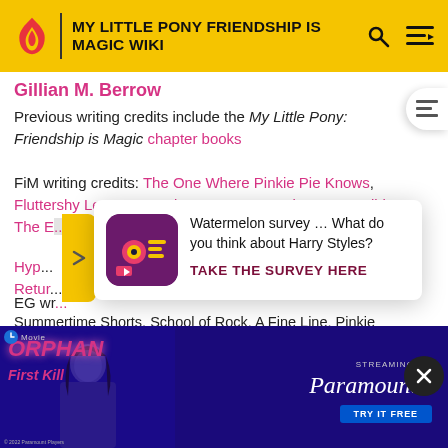MY LITTLE PONY FRIENDSHIP IS MAGIC WIKI
Gillian M. Berrow
Previous writing credits include the My Little Pony: Friendship is Magic chapter books
FiM writing credits: The One Where Pinkie Pie Knows, Fluttershy Leans In, Daring Done?, Grannies Gone Wild, The E... Friend, Pinkie... For... Shedlight... Hyp... No Retur... EG wr...
[Figure (screenshot): Pop-up survey advertisement: Watermelon survey asking what you think about Harry Styles, with TAKE THE SURVEY HERE CTA, and an icon image showing a survey app graphic]
[Figure (screenshot): Paramount+ movie advertisement for Orphan First Kill, streaming on Paramount+, with TRY IT FREE button, dark blue background with movie poster imagery]